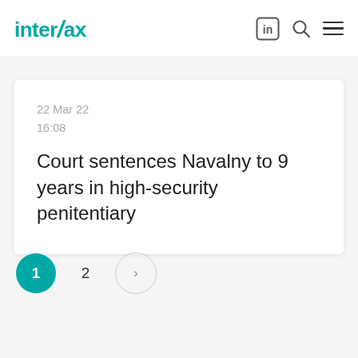Interfax
22 Mar 22
16:08
Court sentences Navalny to 9 years in high-security penitentiary
1  2  >